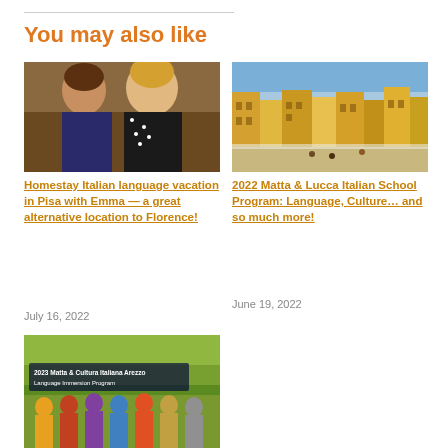You may also like
[Figure (photo): Two women smiling, one holding a wine glass, sitting outdoors in a piazza setting in Italy]
Homestay Italian language vacation in Pisa with Emma — a great alternative location to Florence!
July 16, 2022
[Figure (photo): Colorful historic buildings surrounding an oval piazza in Lucca, Italy, with people walking in the square]
2022 Matta & Lucca Italian School Program: Language, Culture... and so much more!
June 19, 2022
[Figure (photo): Group of women in colorful attire, with text overlay reading '2023 Matta & Cultura Italiana Arezzo Language Immersion Program']